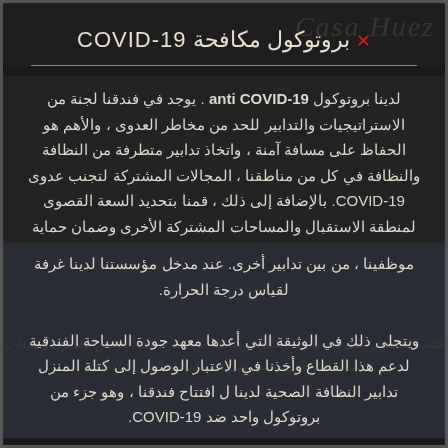بروتوكول مكافحة COVID-19
لدينا بروتوكول anti COVID-19 . يوجد في فندقنا لجنة من الاستراتيجيات والتدابير للحد من مخاطر العدوى ، والأهم هو الحفاظ على مسافة آمنة ، واتخاذ تدابير متطرفة من النظافة والنظافة في كل من مناطقنا ، المجالات المشتركة لتجنب عدوى COVID-19. بالإضافة إلى ذلك ، قمنا بتحديد السعة القصوى لمنطقة الاستقبال والمساحات المشتركة الأخرى وضمان حماية موظفينا ، من بين تدابير أخرى. عند مدخل مؤسستنا لدينا غرفة لقياس درجة الحرارة. ويتجلى ذلك في الوثيقة التي أعدها معهد جودة السياحة الفندقية لدعم هذا القطاع وأخذنا في الاعتبار الوصول إلى كتلة المنزل تدابير النظافة الصحية لدينا ل افتتاح فندقنا ، وهو جزء من بروتوكول واحد ضد COVID-19.